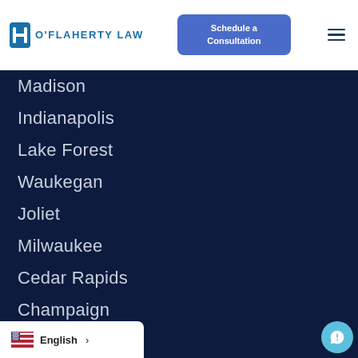O'Flaherty Law | Schedule a Consultation
Madison
Indianapolis
Lake Forest
Waukegan
Joliet
Milwaukee
Cedar Rapids
Champaign
Downers Grove
Naperville
English